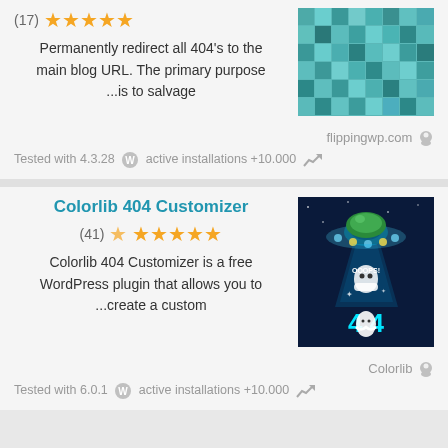(17) ★★★★★
Permanently redirect all 404's to the main blog URL. The primary purpose ...is to salvage
[Figure (illustration): Teal/cyan pixel mosaic pattern image for a 404 redirect plugin]
flippingwp.com
Tested with 4.3.28   active installations +10.000
Colorlib 404 Customizer
(41) ★★★★★
Colorlib 404 Customizer is a free WordPress plugin that allows you to ...create a custom
[Figure (illustration): UFO/spaceship beam with ghost and 404 error text on dark blue background with OOOPS! text]
Colorlib
Tested with 6.0.1   active installations +10.000